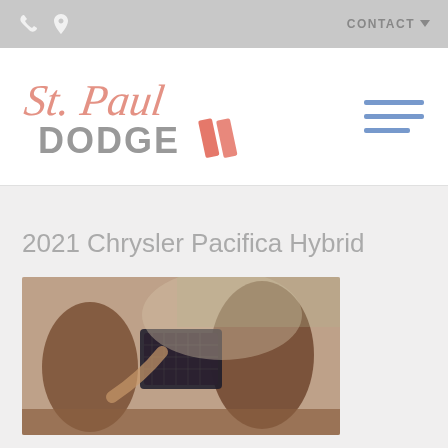CONTACT
[Figure (logo): St. Paul Dodge dealership logo — cursive 'St. Paul' in salmon/coral color above stylized 'DODGE' lettering with red diagonal stripes]
2021 Chrysler Pacifica Hybrid
[Figure (photo): Car interior photo showing two people in front seats of a minivan, viewed from the rear. A screen is visible between the headrests. The dashboard and front windshield are visible.]